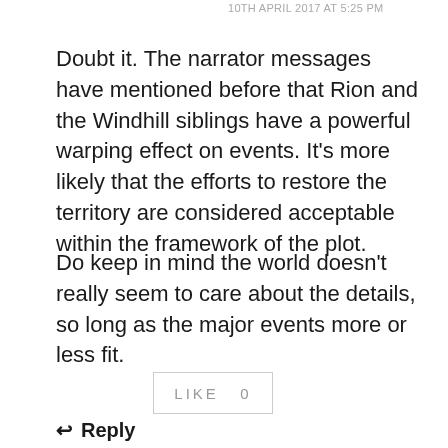10TH APRIL 2017 AT 5:25 PM
Doubt it. The narrator messages have mentioned before that Rion and the Windhill siblings have a powerful warping effect on events. It's more likely that the efforts to restore the territory are considered acceptable within the framework of the plot.
Do keep in mind the world doesn't really seem to care about the details, so long as the major events more or less fit.
LIKE   0
↩ Reply
4 pencils